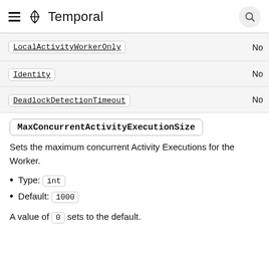Temporal
| Field | Required |
| --- | --- |
| LocalActivityWorkerOnly | No |
| Identity | No |
| DeadlockDetectionTimeout | No |
MaxConcurrentActivityExecutionSize
Sets the maximum concurrent Activity Executions for the Worker.
Type: int
Default: 1000
A value of 0 sets to the default.